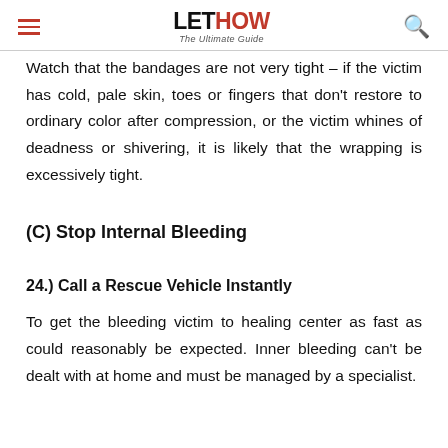LET HOW The Ultimate Guide
Watch that the bandages are not very tight – if the victim has cold, pale skin, toes or fingers that don't restore to ordinary color after compression, or the victim whines of deadness or shivering, it is likely that the wrapping is excessively tight.
(C) Stop Internal Bleeding
24.) Call a Rescue Vehicle Instantly
To get the bleeding victim to healing center as fast as could reasonably be expected. Inner bleeding can't be dealt with at home and must be managed by a specialist.